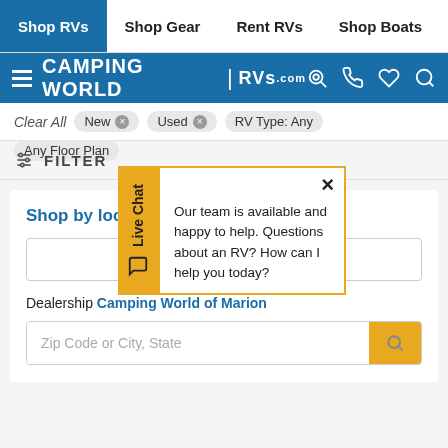Shop RVs | Shop Gear | Rent RVs | Shop Boats
[Figure (logo): Camping World RVs.com logo with hamburger menu and icons on blue bar]
Clear All  New ×  Used ×  RV Type: Any  Any Floor Plan
FILTER
Shop by location
Zip Code
Dealership Camping World of Marion
Zip Code or City, State
Live Chat
Our team is available and happy to help. Questions about an RV? How can I help you today?